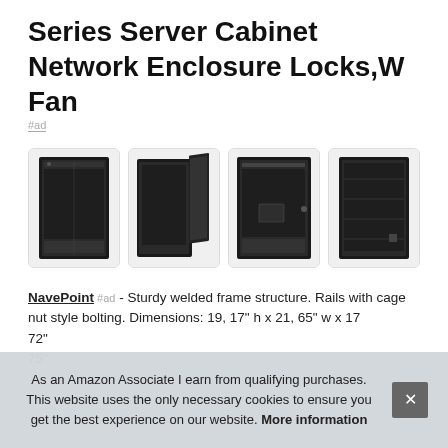Series Server Cabinet Network Enclosure Locks,W Fan
#ad
[Figure (photo): Four product images of a black server cabinet/network enclosure showing different angles: closed front view, open door view, front panel with lock, and rear/side panel view.]
NavePoint #ad - Sturdy welded frame structure. Rails with cage nut style bolting. Dimensions: 19, 17" h x 21, 65" w x 17 72" 75"
As an Amazon Associate I earn from qualifying purchases. This website uses the only necessary cookies to ensure you get the best experience on our website. More information